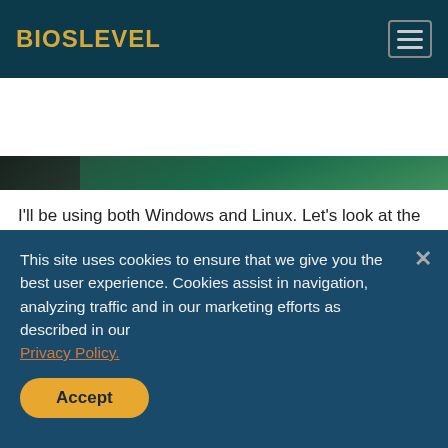BIOSLEVEL
[Figure (photo): Partial hero image showing a dark corner on the left and a green/teal background]
I'll be using both Windows and Linux. Let's look at the final system specifications before I move in to the benchmarks. Also note that I've opted to test this system against a similarly-equipped ECS GeForce 6150 motherboard.
| Processor | AMD Phenom 9500 | AMD Athlon64 X2 |
| --- | --- | --- |
This site uses cookies to ensure that we give you the best user experience. Cookies assist in navigation, analyzing traffic and in our marketing efforts as described in our Privacy Policy.